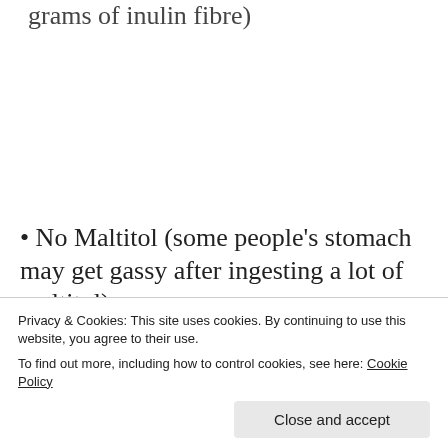…ingredient (each bar/choc bar contains 4 grams of inulin fibre)
• No Maltitol (some people's stomach may get gassy after ingesting a lot of maltitol)
[Figure (illustration): Decorative row of red and gold chevron/arrow pattern icons]
Privacy & Cookies: This site uses cookies. By continuing to use this website, you agree to their use.
To find out more, including how to control cookies, see here: Cookie Policy